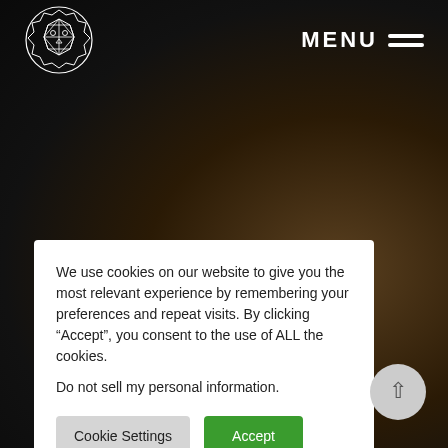[Figure (logo): Geometric lion head logo in white outline on dark background]
MENU
We use cookies on our website to give you the most relevant experience by remembering your preferences and repeat visits. By clicking “Accept”, you consent to the use of ALL the cookies.
Do not sell my personal information.
Cookie Settings
Accept